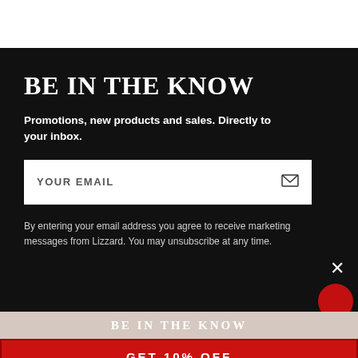BE IN THE KNOW
Promotions, new products and sales. Directly to your inbox.
YOUR EMAIL
By entering your email address you agree to receive marketing messages from Lizzard. You may unsubscribe at any time.
BE IN THE KNOW
GET 10% OFF